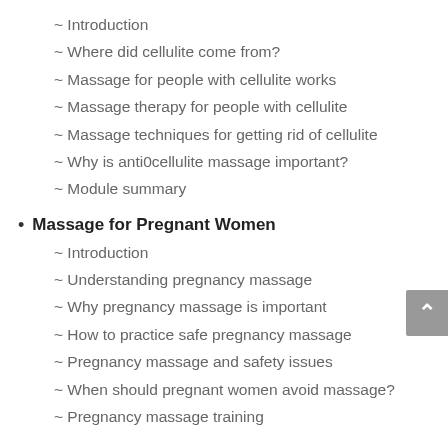~ Introduction
~ Where did cellulite come from?
~ Massage for people with cellulite works
~ Massage therapy for people with cellulite
~ Massage techniques for getting rid of cellulite
~ Why is anti0cellulite massage important?
~ Module summary
Massage for Pregnant Women
~ Introduction
~ Understanding pregnancy massage
~ Why pregnancy massage is important
~ How to practice safe pregnancy massage
~ Pregnancy massage and safety issues
~ When should pregnant women avoid massage?
~ Pregnancy massage training